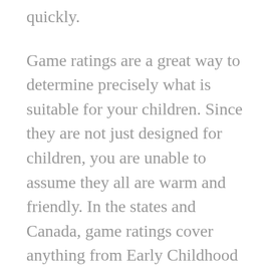quickly.
Game ratings are a great way to determine precisely what is suitable for your children. Since they are not just designed for children, you are unable to assume they all are warm and friendly. In the states and Canada, game ratings cover anything from Early Childhood (EC) towards the rarely-used Adults Only (AO). Other countries have different systems. When choosing a game for one more person, check that it must be suited to what